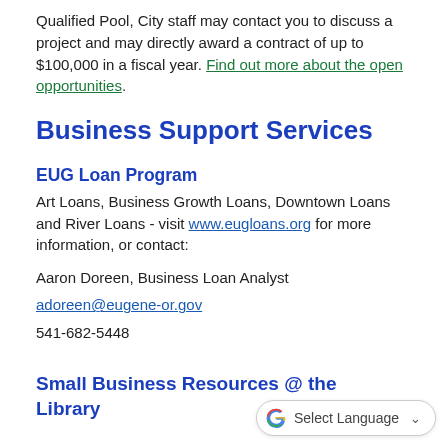Qualified Pool, City staff may contact you to discuss a project and may directly award a contract of up to $100,000 in a fiscal year. Find out more about the open opportunities.
Business Support Services
EUG Loan Program
Art Loans, Business Growth Loans, Downtown Loans and River Loans - visit www.eugloans.org for more information, or contact:
Aaron Doreen, Business Loan Analyst
adoreen@eugene-or.gov
541-682-5448
Small Business Resources @ the Library